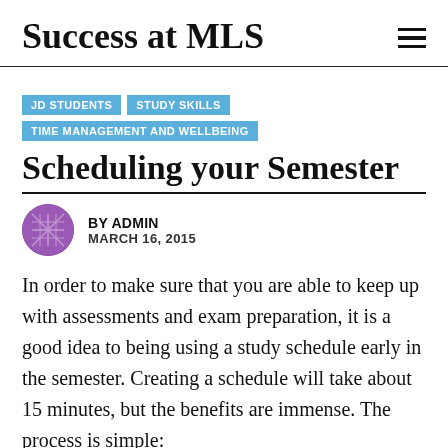Success at MLS
JD STUDENTS
STUDY SKILLS
TIME MANAGEMENT AND WELLBEING
Scheduling your Semester
BY ADMIN
MARCH 16, 2015
In order to make sure that you are able to keep up with assessments and exam preparation, it is a good idea to being using a study schedule early in the semester. Creating a schedule will take about 15 minutes, but the benefits are immense. The process is simple: